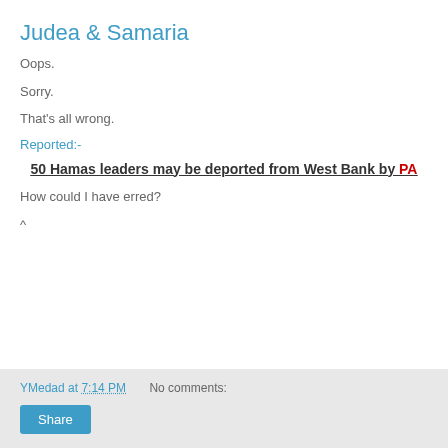Judea & Samaria
Oops.
Sorry.
That's all wrong.
Reported:-
50 Hamas leaders may be deported from West Bank by PA
How could I have erred?
^
YMedad at 7:14 PM   No comments:   Share